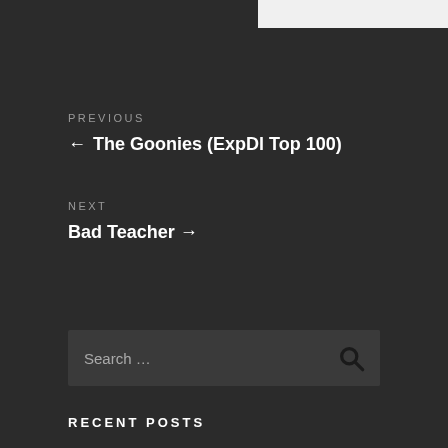PREVIOUS
← The Goonies (ExpDl Top 100)
NEXT
Bad Teacher →
Search …
RECENT POSTS